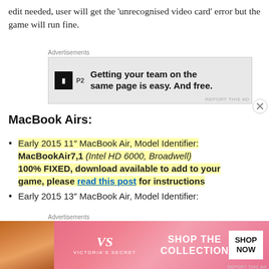edit needed, user will get the 'unrecognised video card' error but the game will run fine.
[Figure (other): Advertisement banner for P2 app: 'Getting your team on the same page is easy. And free.']
MacBook Airs:
Early 2015 11" MacBook Air, Model Identifier: MacBookAir7,1 (Intel HD 6000, Broadwell) 100% FIXED, download available to add to your game, please read this post for instructions
Early 2015 13" MacBook Air, Model Identifier:
[Figure (other): Advertisement banner for Victoria's Secret: 'SHOP THE COLLECTION' with 'SHOP NOW' button]